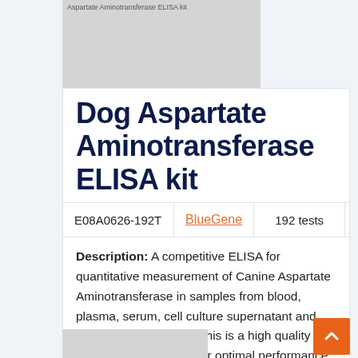[Figure (photo): Product image placeholder for Dog Aspartate Aminotransferase ELISA kit with text label]
Dog Aspartate Aminotransferase ELISA kit
| E08A0626-192T | BlueGene | 192 tests | EUR 1270 |
| --- | --- | --- | --- |
Description: A competitive ELISA for quantitative measurement of Canine Aspartate Aminotransferase in samples from blood, plasma, serum, cell culture supernatant and other biological fluids. This is a high quality ELISA kit developped for optimal performance with samples from the particular species.
[Figure (photo): Bottom product image placeholder]